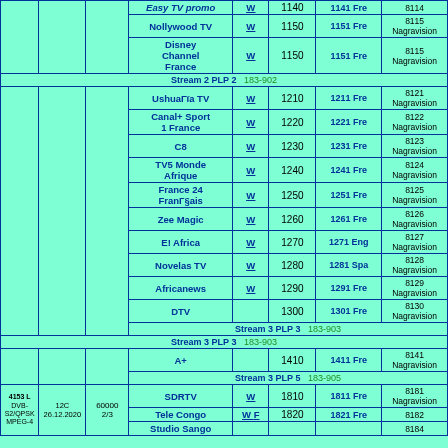|  |  |  | Channel | W | PID | EPID Lang | CAS |
| --- | --- | --- | --- | --- | --- | --- | --- |
|  |  |  | Easy TV promo | W | 1140 | 1141 Fre | 8114 |
|  |  |  | Nollywood TV | W | 1150 | 1151 Fre | 8115 Nagravision |
|  |  |  | Disney Channel France | W | 1150 | 1151 Fre | 8115 Nagravision |
| Stream 2 PLP 2 | 183-902 |  |  |  |  |  |  |
|  |  |  | UshuaГЇa TV | W | 1210 | 1211 Fre | 8121 Nagravision |
|  |  |  | Canal+ Sport 1 France | W | 1220 | 1221 Fre | 8122 Nagravision |
|  |  |  | C8 | W | 1230 | 1231 Fre | 8123 Nagravision |
|  |  |  | TV5 Monde Afrique | W | 1240 | 1241 Fre | 8124 Nagravision |
|  |  |  | France 24 FranГ§ais | W | 1250 | 1251 Fre | 8125 Nagravision |
|  |  |  | Zee Magic | W | 1260 | 1261 Fre | 8126 Nagravision |
|  |  |  | E! Africa | W | 1270 | 1271 Eng | 8127 Nagravision |
|  |  |  | Novelas TV | W | 1280 | 1281 Spa | 8128 Nagravision |
|  |  |  | Africanews | W | 1290 | 1291 Fre | 8129 Nagravision |
|  |  |  | DTV |  | 1300 | 1301 Fre | 8130 Nagravision |
| Stream 3 PLP 3 | 183-903 |  |  |  |  |  |  |
|  |  |  | A+ |  | 1410 | 1411 Fre | 8141 Nagravision |
| Stream 3 PLP 5 | 183-905 |  |  |  |  |  |  |
|  |  |  | SDRTV | W | 1810 | 1811 Fre | 8181 Nagravision |
| 4153 L DVB-S2/QPSK MPEG-4 | 12C 26.12.2020 | 60000 2/3 | Tele Congo | W F | 1820 | 1821 Fre | 8182 |
|  |  |  | Studio Sango |  |  |  | 8184 |